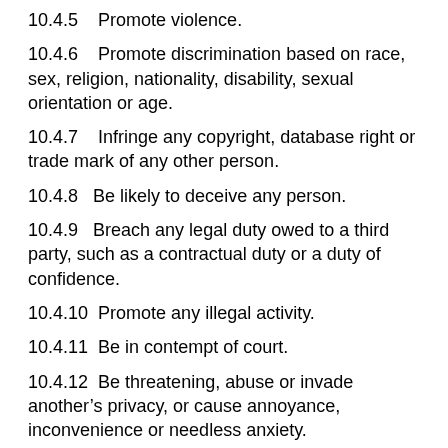10.4.5    Promote violence.
10.4.6    Promote discrimination based on race, sex, religion, nationality, disability, sexual orientation or age.
10.4.7    Infringe any copyright, database right or trade mark of any other person.
10.4.8    Be likely to deceive any person.
10.4.9    Breach any legal duty owed to a third party, such as a contractual duty or a duty of confidence.
10.4.10    Promote any illegal activity.
10.4.11    Be in contempt of court.
10.4.12    Be threatening, abuse or invade another’s privacy, or cause annoyance, inconvenience or needless anxiety.